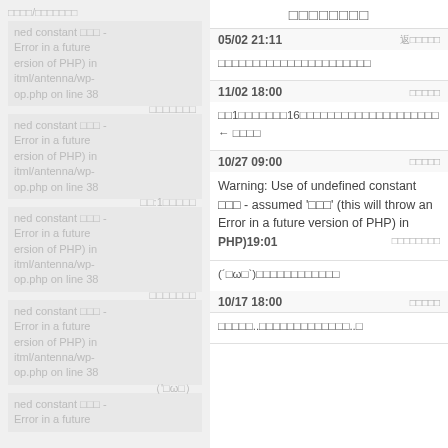□□□□□□□□
05/02 21:11
□□□□□□□□□□□□□□□□□□□□□□
11/02 18:00
□□1□□□□□□□16□□□□□□□□□□□□□□□□□□□□ ← □□□□
10/27 09:00
Warning: Use of undefined constant □□□ - assumed '□□□' (this will throw an Error in a future version of PHP) in □ □ □ □
10/17 18:00
(´□ω□`)□□□□□□□□□□□□
10/17 18:00
□□□□□..□□□□□□□□□□□□□..□